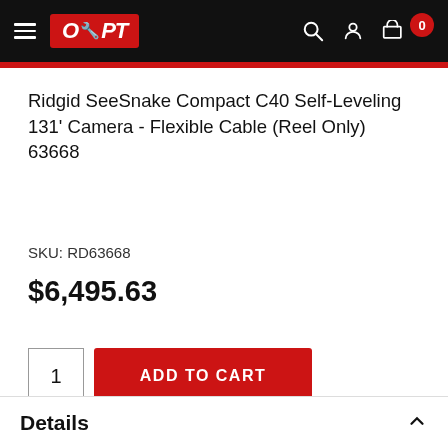OPT — Navigation header with hamburger menu, OPT logo, search, account, cart icons
Ridgid SeeSnake Compact C40 Self-Leveling 131' Camera - Flexible Cable (Reel Only) 63668
SKU: RD63668
$6,495.63
1  ADD TO CART
Details